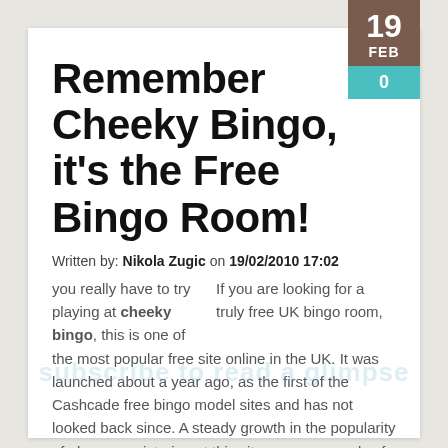Remember Cheeky Bingo, it's the Free Bingo Room!
Written by: Nikola Zugic on 19/02/2010 17:02
If you are looking for a truly free UK bingo room, you really have to try playing at cheeky bingo, this is one of the most popular free site online in the UK. It was launched about a year ago, as the first of the Cashcade free bingo model sites and has not looked back since. A steady growth in the popularity of players registering at this site, sees up-wards of 1500 members on site at any one time.